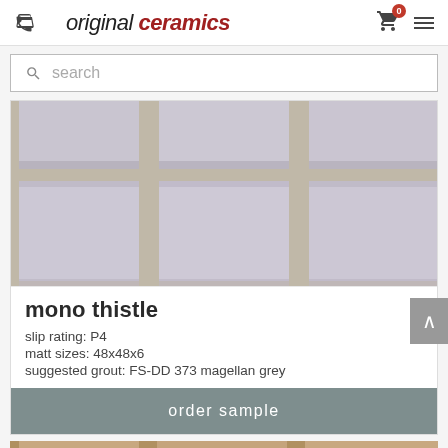original ceramics
search
[Figure (photo): Close-up photo of pale lavender/thistle colored ceramic tiles arranged in a grid with grey grout lines visible]
mono thistle
slip rating: P4
matt sizes: 48x48x6
suggested grout: FS-DD 373 magellan grey
order sample
[Figure (photo): Partial view of another ceramic tile product at the bottom of the page]